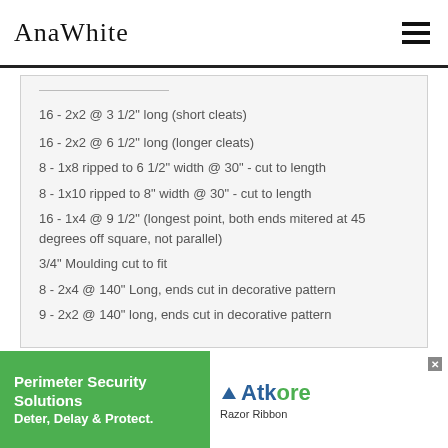AnaWhite
16 - 2x2 @ 3 1/2" long (short cleats)
16 - 2x2 @ 6 1/2" long (longer cleats)
8 - 1x8 ripped to 6 1/2" width @ 30" - cut to length
8 - 1x10 ripped to 8" width @ 30" - cut to length
16 - 1x4 @ 9 1/2" (longest point, both ends mitered at 45 degrees off square, not parallel)
3/4" Moulding cut to fit
8 - 2x4 @ 140" Long, ends cut in decorative pattern
9 - 2x2 @ 140" long, ends cut in decorative pattern
[Figure (screenshot): Advertisement banner: Perimeter Security Solutions Deter, Delay & Protect. - Atkore Razor Ribbon]